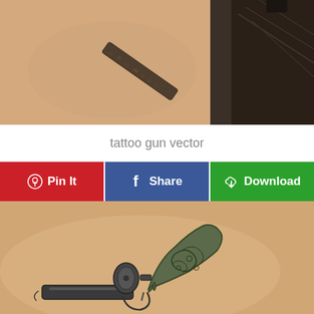[Figure (photo): Close-up photo of a fresh tattoo on skin, showing a dark elongated tattoo design resembling a metal bar or bolt on a forearm, with scabbing texture. Dark background visible to the right.]
tattoo gun vector
[Figure (infographic): Three social sharing buttons: red 'Pin It' button with Pinterest logo, blue 'Share' button with Facebook 'f' logo, and green 'Download' button with download cloud icon.]
[Figure (photo): Photo of a tattoo on skin depicting an ornate revolver/pistol with decorative scrollwork and floral patterns on the grip, rendered in black and teal/green ink.]